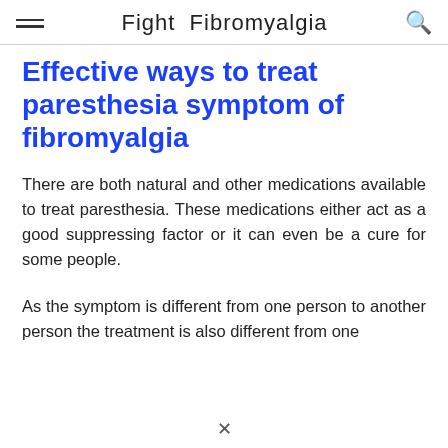Fight Fibromyalgia
Effective ways to treat paresthesia symptom of fibromyalgia
There are both natural and other medications available to treat paresthesia. These medications either act as a good suppressing factor or it can even be a cure for some people.
As the symptom is different from one person to another person the treatment is also different from one